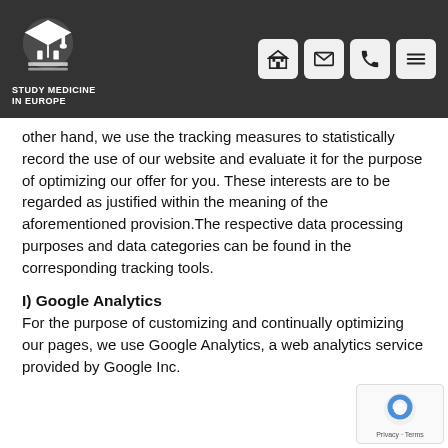Study Medicine in Europe
other hand, we use the tracking measures to statistically record the use of our website and evaluate it for the purpose of optimizing our offer for you. These interests are to be regarded as justified within the meaning of the aforementioned provision.The respective data processing purposes and data categories can be found in the corresponding tracking tools.
I) Google Analytics
For the purpose of customizing and continually optimizing our pages, we use Google Analytics, a web analytics service provided by Google Inc.